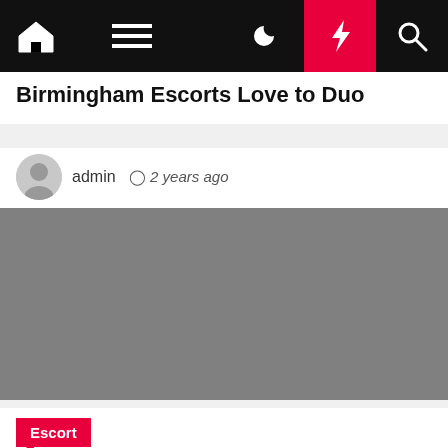Navigation bar with home, menu, dark mode, lightning/breaking news, and search icons
Birmingham Escorts Love to Duo
admin  2 years ago
[Figure (photo): Gray placeholder image block]
Escort